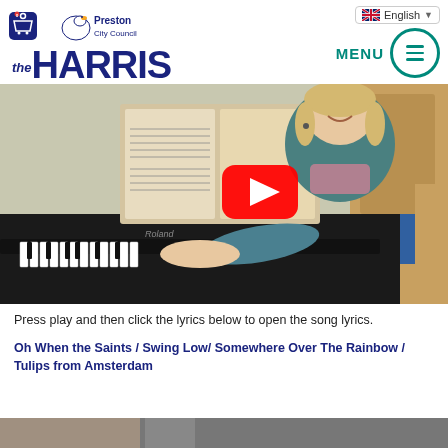[Figure (logo): The Harris museum / Preston City Council logo and navigation header with cart icon, English language selector, and MENU button]
[Figure (screenshot): Video thumbnail showing a woman with blonde hair smiling and playing a Roland piano, with sheet music, YouTube play button overlay in center-right]
Press play and then click the lyrics below to open the song lyrics.
Oh When the Saints / Swing Low/ Somewhere Over The Rainbow / Tulips from Amsterdam
[Figure (photo): Partial bottom image strip, appears to be another photo]